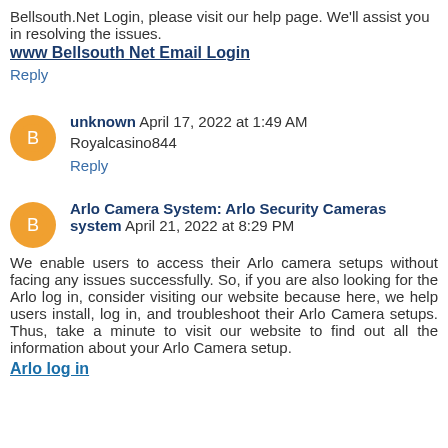Bellsouth.Net Login, please visit our help page. We'll assist you in resolving the issues.
www Bellsouth Net Email Login
Reply
unknown  April 17, 2022 at 1:49 AM
Royalcasino844
Reply
Arlo Camera System: Arlo Security Cameras system  April 21, 2022 at 8:29 PM
We enable users to access their Arlo camera setups without facing any issues successfully. So, if you are also looking for the Arlo log in, consider visiting our website because here, we help users install, log in, and troubleshoot their Arlo Camera setups. Thus, take a minute to visit our website to find out all the information about your Arlo Camera setup.
Arlo log in